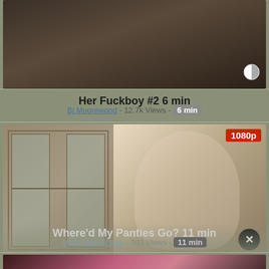[Figure (photo): Video thumbnail at top, dark blurry close-up image with a circular icon overlay at bottom right]
Her Fuckboy #2 6 min
Bj Moorewood - 12.7k Views - 6 min
[Figure (photo): Video thumbnail showing a blonde woman in a grey crop top standing near french doors, pulling at white underwear. Red 1080p badge top right, X close button bottom right.]
Where'd My Panties Go? 11 min
Molly Mae Official - 383 Views - 11 min
[Figure (photo): Partial bottom thumbnail, dark/pink tones, partially visible]